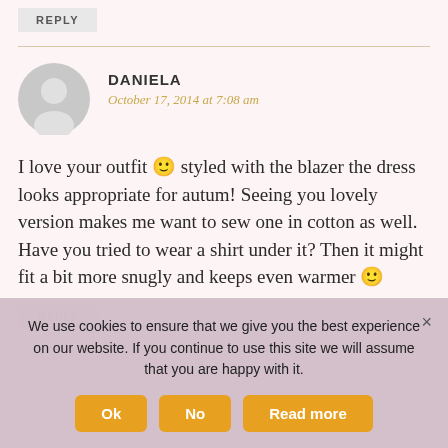REPLY
DANIELA
October 17, 2014 at 7:08 am
I love your outfit 🙂 styled with the blazer the dress looks appropriate for autum! Seeing you lovely version makes me want to sew one in cotton as well. Have you tried to wear a shirt under it? Then it might fit a bit more snugly and keeps even warmer 🙂
We use cookies to ensure that we give you the best experience on our website. If you continue to use this site we will assume that you are happy with it.